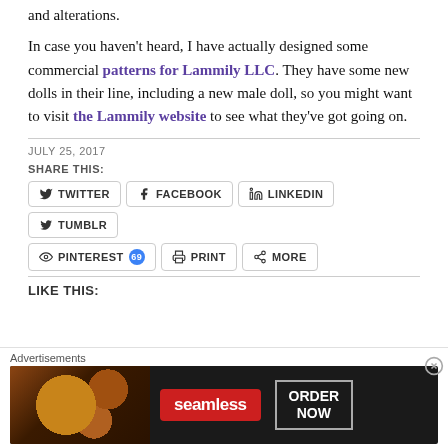and alterations.
In case you haven't heard, I have actually designed some commercial patterns for Lammily LLC. They have some new dolls in their line, including a new male doll, so you might want to visit the Lammily website to see what they've got going on.
JULY 25, 2017
SHARE THIS:
TWITTER  FACEBOOK  LINKEDIN  TUMBLR  PINTEREST 69  PRINT  MORE
LIKE THIS:
Advertisements
[Figure (infographic): Seamless food delivery advertisement banner showing pizza slices, seamless logo in red, and ORDER NOW button]